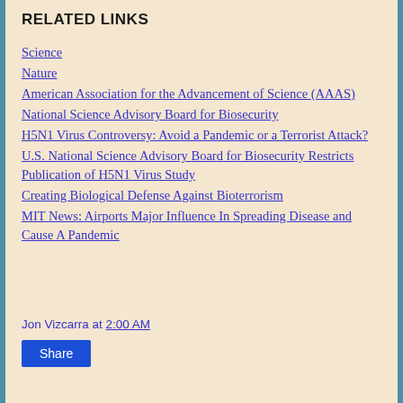RELATED LINKS
Science
Nature
American Association for the Advancement of Science (AAAS)
National Science Advisory Board for Biosecurity
H5N1 Virus Controversy: Avoid a Pandemic or a Terrorist Attack?
U.S. National Science Advisory Board for Biosecurity Restricts Publication of H5N1 Virus Study
Creating Biological Defense Against Bioterrorism
MIT News: Airports Major Influence In Spreading Disease and Cause A Pandemic
Jon Vizcarra at 2:00 AM